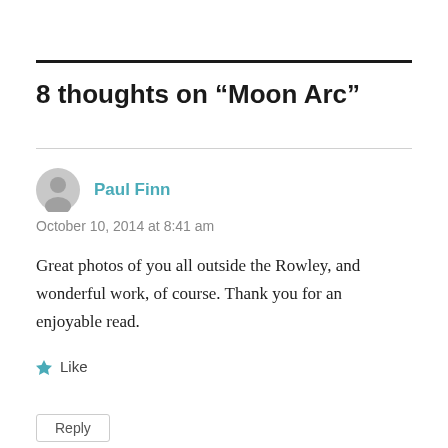8 thoughts on “Moon Arc”
Paul Finn
October 10, 2014 at 8:41 am
Great photos of you all outside the Rowley, and wonderful work, of course. Thank you for an enjoyable read.
Like
Reply